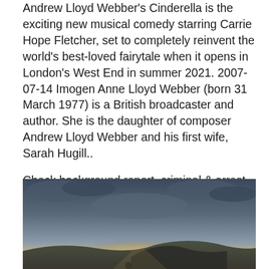Andrew Lloyd Webber's Cinderella is the exciting new musical comedy starring Carrie Hope Fletcher, set to completely reinvent the world's best-loved fairytale when it opens in London's West End in summer 2021. 2007-07-14 Imogen Anne Lloyd Webber (born 31 March 1977) is a British broadcaster and author. She is the daughter of composer Andrew Lloyd Webber and his first wife, Sarah Hugill..
Check background report, criminal & arrest records. Medical clinic brooklyn
[Figure (photo): Landscape photo showing a dark cloudy sky with light breaking through over hills or mountains, with a scenic outdoor setting.]